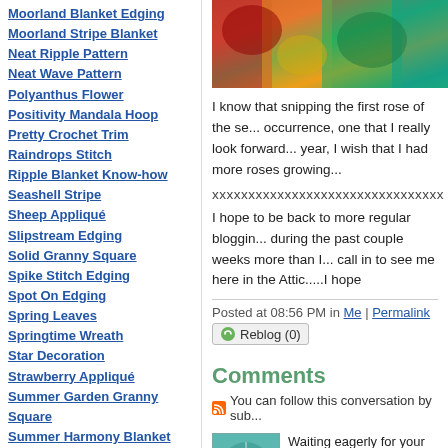Moorland Blanket Edging
Moorland Stripe Blanket
Neat Ripple Pattern
Neat Wave Pattern
Polyanthus Flower
Positivity Mandala Hoop
Pretty Crochet Trim
Raindrops Stitch
Ripple Blanket Know-how
Seashell Stripe
Sheep Appliqué
Slipstream Edging
Solid Granny Square
Spike Stitch Edging
Spot On Edging
Spring Leaves
Springtime Wreath
Star Decoration
Strawberry Appliqué
Summer Garden Granny Square
Summer Harmony Blanket
Summertime Tins
Sunny Granny Square
Sunny Log Cabin Blanket
Sunny Log Cabin Blanket : part 2
[Figure (photo): Close-up photo of colourful crocheted yarn in red, green, and teal tones at top of right column]
I know that snipping the first rose of the se... occurrence, one that I really look forward... year, I wish that I had more roses growing...
xxxxxxxxxxxxxxxxxxxxxxxxxxxxxxxx
I hope to be back to more regular bloggin... during the past couple weeks more than I... call in to see me here in the Attic.....I hope
Posted at 08:56 PM in Me | Permalink
Reblog (0)
Comments
You can follow this conversation by sub...
[Figure (illustration): Teal/green decorative avatar icon with leaf/flower pattern]
Waiting eagerly for your next p... are busy with, gets done perfe...
Posted by: Ankita Vj (India) | July 29...